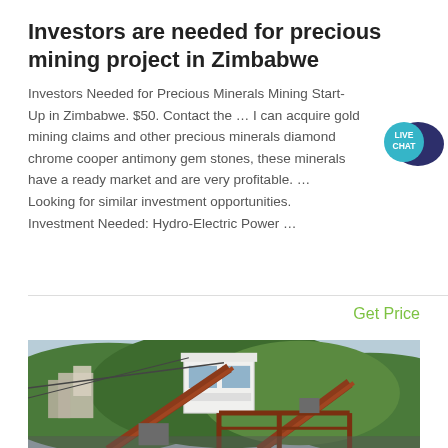Investors are needed for precious mining project in Zimbabwe
Investors Needed for Precious Minerals Mining Start-Up in Zimbabwe. $50. Contact the … I can acquire gold mining claims and other precious minerals diamond chrome cooper antimony gem stones, these minerals have a ready market and are very profitable. … Looking for similar investment opportunities. Investment Needed: Hydro-Electric Power …
Get Price
[Figure (photo): Photograph of a mining facility with conveyor belts, industrial structures, and green forested hills in the background]